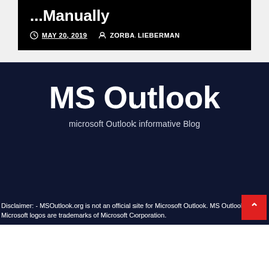... Manually
MAY 20, 2019  ZORBA LIEBERMAN
MS Outlook
microsoft Outlook informative Blog
Disclaimer: - MSOutlook.org is not an official site for Microsoft Outlook. MS Outlook and Microsoft logos are trademarks of Microsoft Corporation.